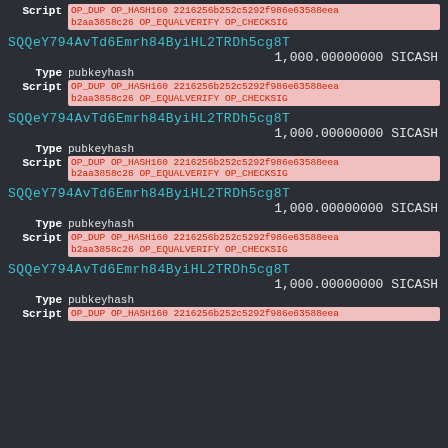Script  OP_DUP OP_HASH160 2216256b252c5292f986e63588eeab2aa3858c26 OP_EQUALVERIFY OP_CHECKSIG
SQQeY794AvTd6Emrh84ByiHL2TRDh5cg8T
1,000.00000000 SICASH
Type  pubkeyhash
Script  OP_DUP OP_HASH160 2216256b252c5292f986e63588eeab2aa3858c26 OP_EQUALVERIFY OP_CHECKSIG
SQQeY794AvTd6Emrh84ByiHL2TRDh5cg8T
1,000.00000000 SICASH
Type  pubkeyhash
Script  OP_DUP OP_HASH160 2216256b252c5292f986e63588eeab2aa3858c26 OP_EQUALVERIFY OP_CHECKSIG
SQQeY794AvTd6Emrh84ByiHL2TRDh5cg8T
1,000.00000000 SICASH
Type  pubkeyhash
Script  OP_DUP OP_HASH160 2216256b252c5292f986e63588eeab2aa3858c26 OP_EQUALVERIFY OP_CHECKSIG
SQQeY794AvTd6Emrh84ByiHL2TRDh5cg8T
1,000.00000000 SICASH
Type  pubkeyhash
Script  OP_DUP OP_HASH160 2216256b252c5292f986e63588eeab2aa3858c26 OP_EQUALVERIFY OP_CHECKSIG